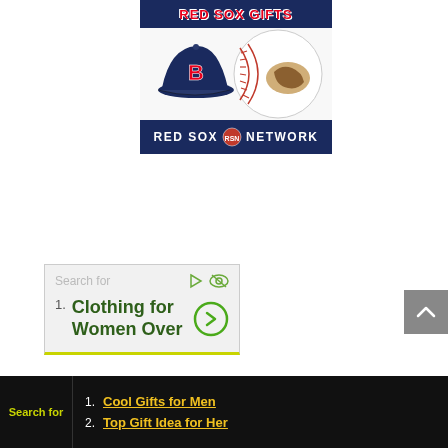[Figure (logo): Red Sox Gifts banner with navy blue background showing RED SOX GIFTS text in red, a Red Sox cap and baseball imagery, and RED SOX NETWORK text at bottom]
[Figure (screenshot): Ad widget with light gray background, 'Search for' label, green arrow and eye icons, item '1. Clothing for Women Over' with green circle arrow, and yellow-green bottom border]
[Figure (screenshot): Gray scroll-to-top button with upward caret arrow on right side]
[Figure (screenshot): Black bottom bar with 'Search for' label in yellow-green, numbered links '1. Cool Gifts for Men' and '2. Top Gift Idea for Her' in gold underlined text, and reCAPTCHA Privacy-Terms badge on right]